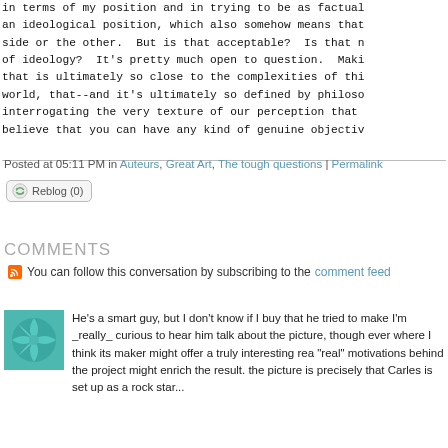in terms of my position and in trying to be as factual an ideological position, which also somehow means that side or the other.  But is that acceptable?  Is that n of ideology?  It's pretty much open to question.  Maki that is ultimately so close to the complexities of thi world, that--and it's ultimately so defined by philoso interrogating the very texture of our perception that believe that you can have any kind of genuine objectiv
Posted at 05:11 PM in Auteurs, Great Art, The tough questions | Permalink
[Figure (other): Reblog (0) button with recycling icon]
COMMENTS
You can follow this conversation by subscribing to the comment feed
[Figure (photo): Teal/green avatar image with leaf/floral pattern]
He's a smart guy, but I don't know if I buy that he tried to make I'm _really_ curious to hear him talk about the picture, though ever where I think its maker might offer a truly interesting rea "real" motivations behind the project might enrich the result. the picture is precisely that Carles is set up as a rock star...